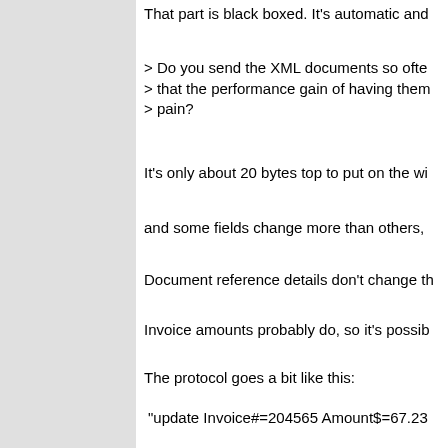That part is black boxed. It's automatic and
> Do you send the XML documents so often
> that the performance gain of having them
> pain?
It's only about 20 bytes top to put on the wi
and some fields change more than others,
Document reference details don't change th
Invoice amounts probably do, so it's possib
The protocol goes a bit like this:
"update Invoice#=204565 Amount$=67.23
Yes, it should be a soap packet I know, or a
it much more complicated. We just put it on
> Or do you only store data as XML that is
No they are dynamic documents that chang